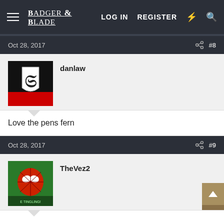Badger & Blade — LOG IN   REGISTER
Oct 28, 2017  #8
danlaw
Love the pens fern
Oct 28, 2017  #9
TheVez2